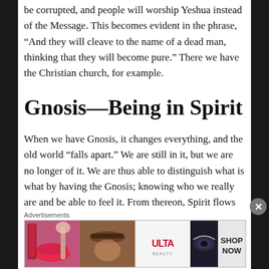be corrupted, and people will worship Yeshua instead of the Message. This becomes evident in the phrase, “And they will cleave to the name of a dead man, thinking that they will become pure.” There we have the Christian church, for example.
Gnosis—Being in Spirit
When we have Gnosis, it changes everything, and the old world “falls apart.” We are still in it, but we are no longer of it. We are thus able to distinguish what is what by having the Gnosis; knowing who we really are and be able to feel it. From thereon, Spirit flows freely through soul
Advertisements
[Figure (photo): Ulta beauty advertisement banner showing makeup imagery including lipstick, eyebrows, eye makeup, and the Ulta logo with SHOP NOW text]